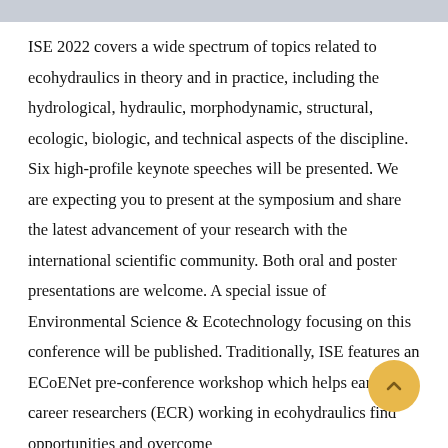ISE 2022 covers a wide spectrum of topics related to ecohydraulics in theory and in practice, including the hydrological, hydraulic, morphodynamic, structural, ecologic, biologic, and technical aspects of the discipline. Six high-profile keynote speeches will be presented. We are expecting you to present at the symposium and share the latest advancement of your research with the international scientific community. Both oral and poster presentations are welcome. A special issue of Environmental Science & Ecotechnology focusing on this conference will be published. Traditionally, ISE features an ECoENet pre-conference workshop which helps early career researchers (ECR) working in ecohydraulics find opportunities and overcome